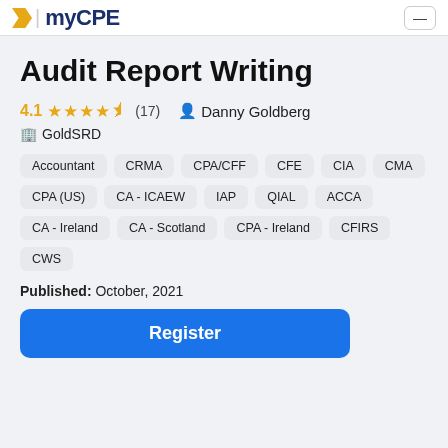myCPE
Audit Report Writing
4.1 ★★★★½ (17)  Danny Goldberg
GoldSRD
Accountant
CRMA
CPA/CFF
CFE
CIA
CMA
CPA (US)
CA - ICAEW
IAP
QIAL
ACCA
CA - Ireland
CA - Scotland
CPA - Ireland
CFIRS
CWS
Published: October, 2021
Register